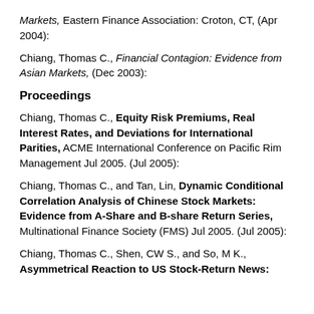Markets, Eastern Finance Association: Croton, CT, (Apr 2004):
Chiang, Thomas C., Financial Contagion: Evidence from Asian Markets, (Dec 2003):
Proceedings
Chiang, Thomas C., Equity Risk Premiums, Real Interest Rates, and Deviations for International Parities, ACME International Conference on Pacific Rim Management Jul 2005. (Jul 2005):
Chiang, Thomas C., and Tan, Lin, Dynamic Conditional Correlation Analysis of Chinese Stock Markets: Evidence from A-Share and B-share Return Series, Multinational Finance Society (FMS) Jul 2005. (Jul 2005):
Chiang, Thomas C., Shen, CW S., and So, M K., Asymmetrical Reaction to US Stock-Return News: